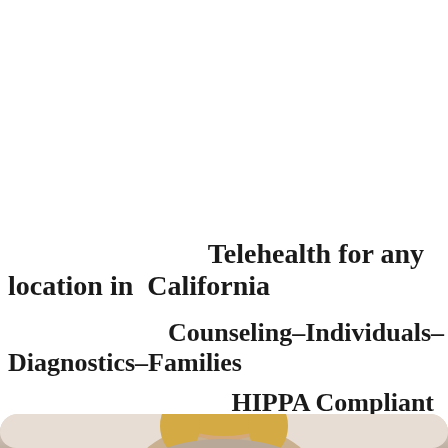Telehealth for any location in California
Counseling–Individuals–Diagnostics–Families
HIPPA Compliant Video Conferencing
[Figure (photo): Photo of a woman with blonde hair, cropped at bottom of page, shown from shoulders up against a light background]